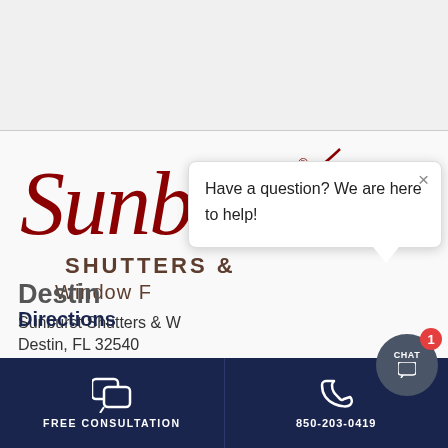[Figure (logo): Sunburst Shutters & Window Fashions logo with cursive red script 'Sunburst' and dark text 'SHUTTERS & Window Fashions']
Destin
Sunburst Shutters & W...
Destin, FL 32540
Directions
[Figure (screenshot): Chat popup: Have a question? We are here to help! with X close button]
FREE CONSULTATION
850-203-0419